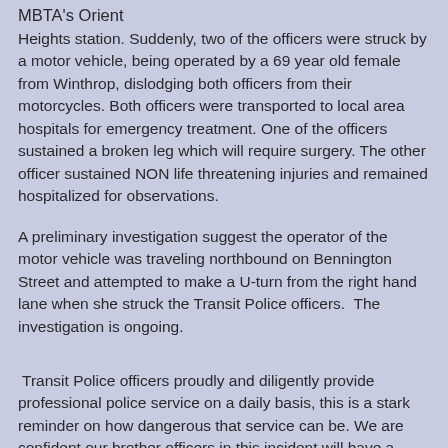MBTA's Orient Heights station. Suddenly, two of the officers were struck by a motor vehicle, being operated by a 69 year old female from Winthrop, dislodging both officers from their motorcycles. Both officers were transported to local area hospitals for emergency treatment. One of the officers sustained a broken leg which will require surgery. The other officer sustained NON life threatening injuries and remained hospitalized for observations.
A preliminary investigation suggest the operator of the motor vehicle was traveling northbound on Bennington Street and attempted to make a U-turn from the right hand lane when she struck the Transit Police officers.  The investigation is ongoing.
Transit Police officers proudly and diligently provide professional police service on a daily basis, this is a stark reminder on how dangerous that service can be. We are confident our brother officers in this incident will have a complete and speedy recovery and we are grateful for the well wishes the Transit Police Department have received.